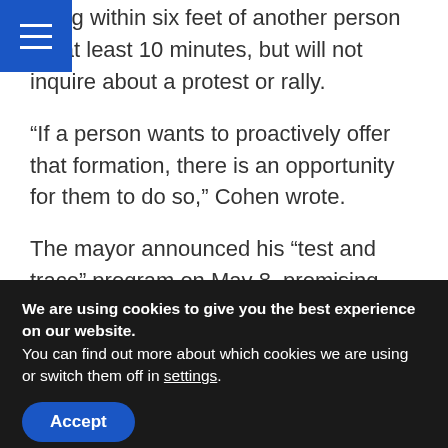being within six feet of another person for at least 10 minutes, but will not inquire about a protest or rally.
“If a person wants to proactively offer that formation, there is an opportunity for them to do so,” Cohen wrote.
The mayor announced his “test and trace” program on May 8, promising that the city would hire 1,000 “contact tracers.”
We are using cookies to give you the best experience on our website.
You can find out more about which cookies we are using or switch them off in settings.
Accept